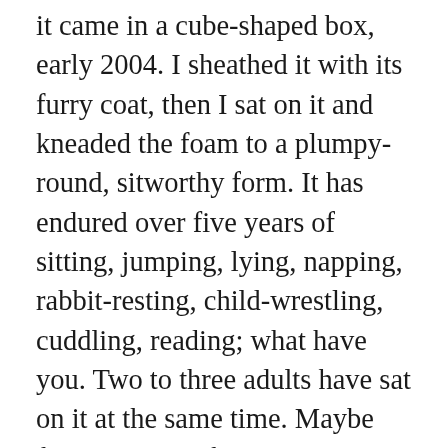it came in a cube-shaped box, early 2004. I sheathed it with its furry coat, then I sat on it and kneaded the foam to a plumpy-round, sitworthy form. It has endured over five years of sitting, jumping, lying, napping, rabbit-resting, child-wrestling, cuddling, reading; what have you. Two to three adults have sat on it at the same time. Maybe four. Zillions of children. It more than filled the measure of its creation. Also, truth be known, I never washed it. It had collected a lot of dust and hair. It was crusty and matted in some places. Its time had come. I'd always called it “furry poofy chair,” others had also called it “gorilla.” My chest tightened a bit as I left it in the basement a couple days ago.